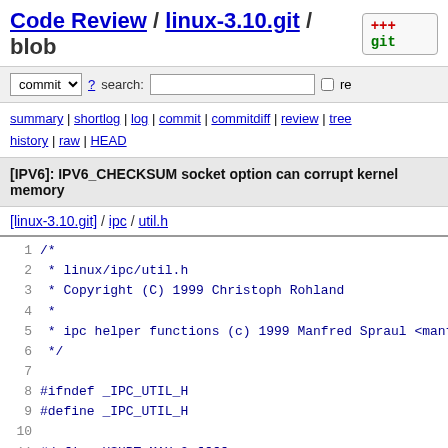Code Review / linux-3.10.git / blob
commit ? search: re
summary | shortlog | log | commit | commitdiff | review | tree history | raw | HEAD
[IPV6]: IPV6_CHECKSUM socket option can corrupt kernel memory
[linux-3.10.git] / ipc / util.h
1  /*
2   * linux/ipc/util.h
3   * Copyright (C) 1999 Christoph Rohland
4   *
5   * ipc helper functions (c) 1999 Manfred Spraul <manfre
6   */
7
8  #ifndef _IPC_UTIL_H
9  #define _IPC_UTIL_H
10
11 #define USHRT_MAX 0xffff
12 #define SEQ_MULTIPLIER  (IPCMNI)
13
14 void sem_init (void);
15 void msg_init (void);
16 void shm_init (void);
17
18 struct ipc_id_ary {